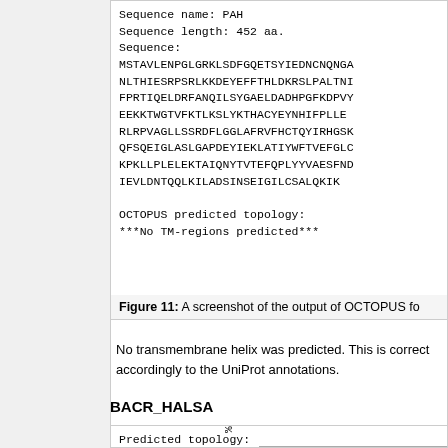[Figure (screenshot): Screenshot of OCTOPUS output for PAH sequence showing sequence name, length 452 aa, full sequence text, and predicted topology with no TM-regions predicted]
Figure 11: A screenshot of the output of OCTOPUS fo...
No transmembrane helix was predicted. This is correct accordingly to the UniProt annotations.
BACR_HALSA
[Figure (other): Predicted topology visualization for BACR_HALSA with Inside/Outside/TM-helix legend]